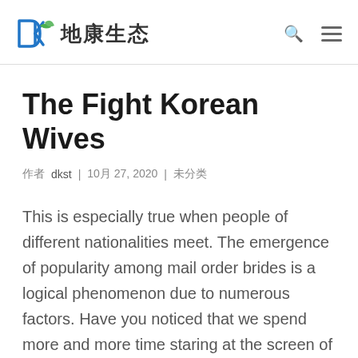DK 地康生态
The Fight Korean Wives
作者 dkst | 10月 27, 2020 | 未分类
This is especially true when people of different nationalities meet. The emergence of popularity among mail order brides is a logical phenomenon due to numerous factors. Have you noticed that we spend more and more time staring at the screen of our computers and gadgets? All business communications are already transferred to